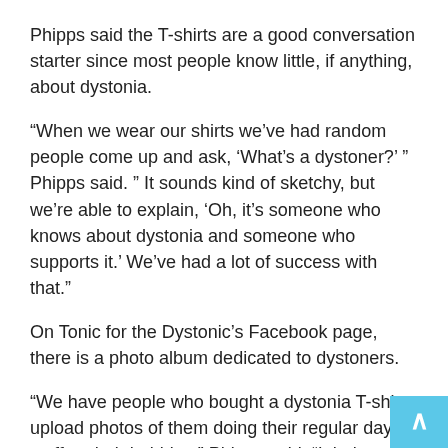Phipps said the T-shirts are a good conversation starter since most people know little, if anything, about dystonia.
“When we wear our shirts we’ve had random people come up and ask, ‘What’s a dystoner?’ ” Phipps said. ” It sounds kind of sketchy, but we’re able to explain, ‘Oh, it’s someone who knows about dystonia and someone who supports it.’ We’ve had a lot of success with that.”
On Tonic for the Dystonic’s Facebook page, there is a photo album dedicated to dystoners.
“We have people who bought a dystonia T-shirt upload photos of them doing their regular day stuff or their hobbies,” Phipps said. “It helps people with dystonia see that there’s a whole variety of people out there committed to raising awareness.”